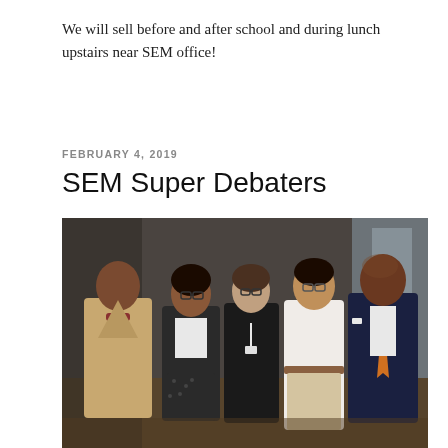We will sell before and after school and during lunch upstairs near SEM office!
FEBRUARY 4, 2019
SEM Super Debaters
[Figure (photo): Group photo of five people (two students and three adults) standing together and posing for a picture in what appears to be an auditorium or event space. From left to right: a man in a tan suit with a bow tie, a young woman in a black blazer with glasses, a woman in a black dress with glasses and a lanyard, a young man in a white dress shirt with khakis, and a man in a dark navy suit with an orange tie.]